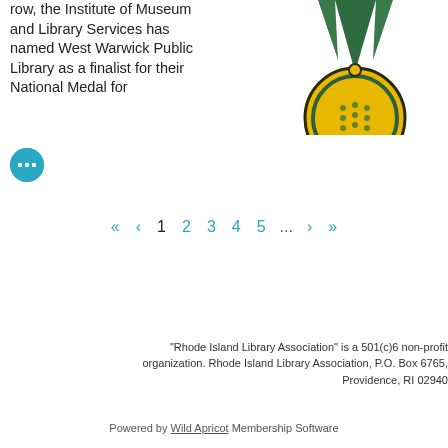row, the Institute of Museum and Library Services has named West Warwick Public Library as a finalist for their National Medal for
[Figure (illustration): Illustration of a gold medal with green ribbon hanging from top, partially cropped at top and right edges]
[Figure (other): Teal circular button with three white dots (ellipsis/more button)]
« < 1 2 3 4 5 ... > »
"Rhode Island Library Association" is a 501(c)6 non-profit organization. Rhode Island Library Association, P.O. Box 6765, Providence, RI 02940
Powered by Wild Apricot Membership Software